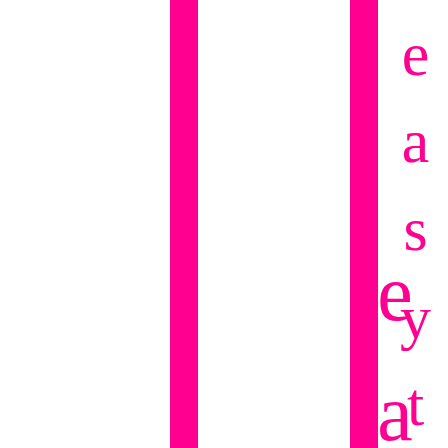[Figure (other): Two vertical magenta/hot-pink bars running full height of the page, one near the left side and one near the right-center. To the right of the second bar, the letters e, a, s, y, t are displayed vertically in large hot-pink serif font.]